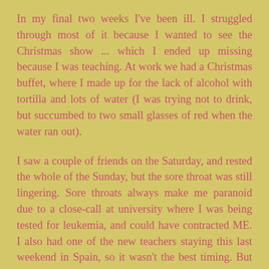In my final two weeks I've been ill. I struggled through most of it because I wanted to see the Christmas show ... which I ended up missing because I was teaching. At work we had a Christmas buffet, where I made up for the lack of alcohol with tortilla and lots of water (I was trying not to drink, but succumbed to two small glasses of red when the water ran out).
I saw a couple of friends on the Saturday, and rested the whole of the Sunday, but the sore throat was still lingering. Sore throats always make me paranoid due to a close-call at university where I was being tested for leukemia, and could have contracted ME. I also had one of the new teachers staying this last weekend in Spain, so it wasn't the best timing. But they did buy me some lovely coasters as a thank you, meaning I can replace the terrible glass ones I had bought before. Glass +